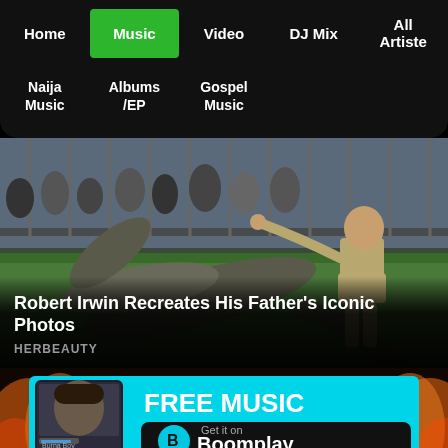Home | Music | Video | DJ Mix | All Artiste | Naija Music | Albums/EP | Gospel Music
[Figure (photo): A person in khaki outfit feeding or interacting with a large crocodile/alligator in an outdoor arena with spectators in the background]
Robert Irwin Recreates His Father's Iconic Photos
HERBEAUTY
[Figure (infographic): Boomplay advertisement banner with cyan background showing Burna Boy in app screenshot on left and FREE MUSIC text with Get it on Boomplay button on right]